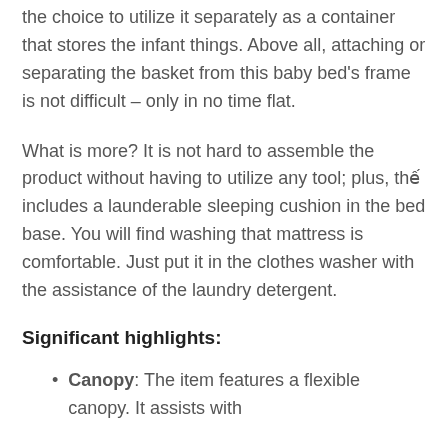the choice to utilize it separately as a container that stores the infant things. Above all, attaching or separating the basket from this baby bed's frame is not difficult – only in no time flat.
What is more? It is not hard to assemble the product without having to utilize any tool; plus, thế includes a launderable sleeping cushion in the bed base. You will find washing that mattress is comfortable. Just put it in the clothes washer with the assistance of the laundry detergent.
Significant highlights:
Canopy: The item features a flexible canopy. It assists with